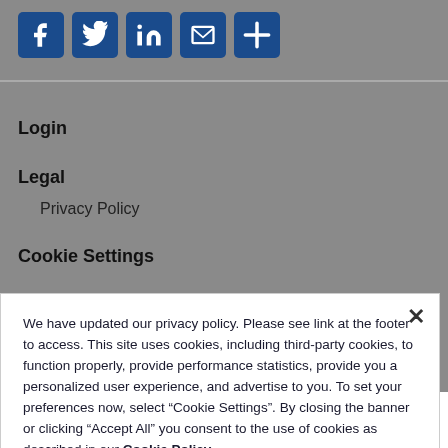[Figure (other): Social media sharing icons: Facebook, Twitter, LinkedIn, Email, Share (plus) — white icons on dark blue square buttons]
Login
Legal
Privacy Policy
Cookie Settings
We have updated our privacy policy. Please see link at the footer to access. This site uses cookies, including third-party cookies, to function properly, provide performance statistics, provide you a personalized user experience, and advertise to you. To set your preferences now, select “Cookie Settings”. By closing the banner or clicking “Accept All” you consent to the use of cookies as described in our Cookie Policy